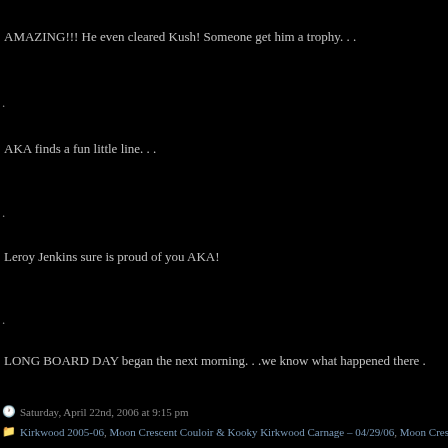AMAZING!!! He even cleared Kush! Someone get him a trophy. . .
.
AKA finds a fun little line. . .
.
Leroy Jenkins sure is proud of you AKA!
.
LONG BOARD DAY began the next morning. . .we know what happened there .
Saturday, April 22nd, 2006 at 9:15 pm
Kirkwood 2005-06, Moon Crescent Couloir & Kooky Kirkwood Carnage – 04/29/06, Moon Cresc...